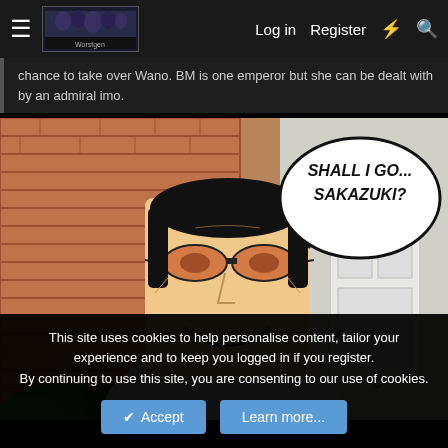Log in  Register
chance to take over Wano. BM is one emperor but she can be dealt with by an admiral imo.
[Figure (photo): A composite meme image showing a person in a white shirt with an anime character face (Kizaru/Borsalino from One Piece) overlaid on their head, standing in front of a brick house with a white door. A manga speech bubble in the upper right reads 'SHALL I GO... SAKAZUKI?']
This site uses cookies to help personalise content, tailor your experience and to keep you logged in if you register.
By continuing to use this site, you are consenting to our use of cookies.
Accept  Learn more...